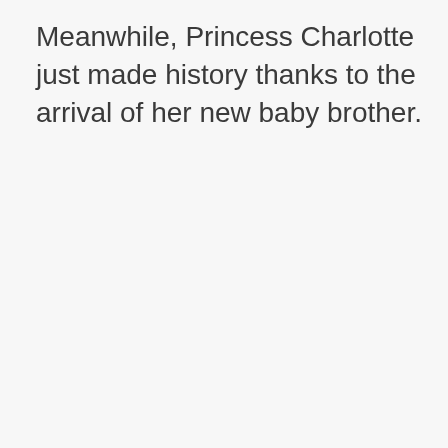Meanwhile, Princess Charlotte just made history thanks to the arrival of her new baby brother.